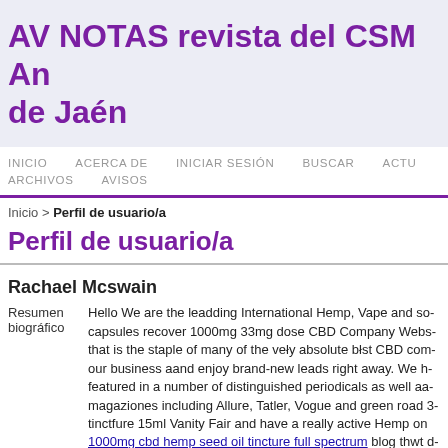AV NOTAS revista del CSM An... de Jaén
INICIO   ACERCA DE   INICIAR SESIÓN   BUSCAR   ACTU...   ARCHIVOS   AVISOS
Inicio > Perfil de usuario/a
Perfil de usuario/a
Rachael Mcswain
Resumen biográfico: Hello We are the leadding International Hemp, Vape and so... capsules recover 1000mg 33mg dose CBD Company Webs... that is the staple of many of the veły absolute błst CBD com... our business aand enjoy brand-new leads right away. We h... featured in a number of distinguished periodicals as well aa... magaziones including Allure, Tatler, Vogue and green road 3... tinctfure 15ml Vanity Fair and have a really active Hemp on... 1000mg cbd hemp seed oil tincture full spectrum blog thwt d... quality site trafficc from the UK and hemplucid 1000mg cbd oil tincture full spectrum USA. Listing on oŀr business direct...